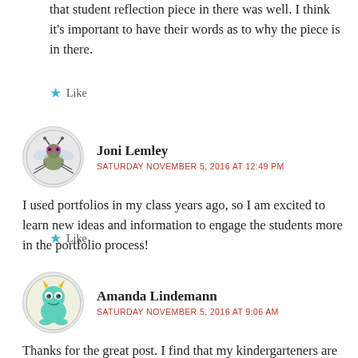that student reflection piece in there was well. I think it's important to have their words as to why the piece is in there.
★ Like
Joni Lemley
SATURDAY NOVEMBER 5, 2016 AT 12:49 PM
I used portfolios in my class years ago, so I am excited to learn new ideas and information to engage the students more in the portfolio process!
★ Like
Amanda Lindemann
SATURDAY NOVEMBER 5, 2016 AT 9:06 AM
Thanks for the great post. I find that my kindergarteners are most responsive to those reflective talks. Sure we have mini